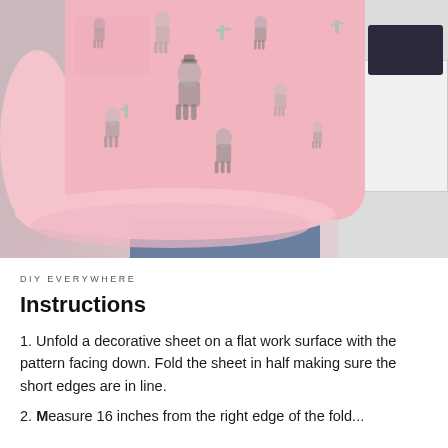[Figure (photo): Photo of a person wearing a pink llama-print apron with ruffled edges, holding the pocket, wearing blue jeans. Background shows a white shelf/room.]
DIY EVERYWHERE
Instructions
1. Unfold a decorative sheet on a flat work surface with the pattern facing down. Fold the sheet in half making sure the short edges are in line.
2. Measure 16 inches from the right edge of the fold...